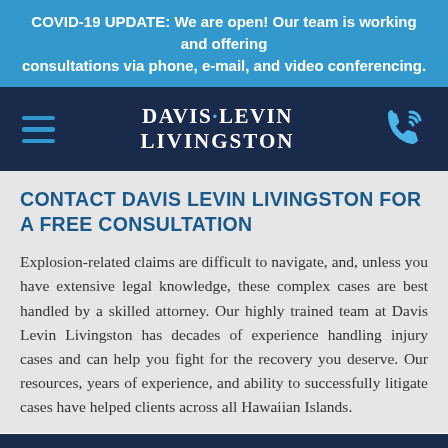COVID-19 UPDATE: We are open! Our team is working and offering consultations via phone, e-mail, and video conferencing.
[Figure (logo): Davis Levin Livingston law firm logo with hamburger menu icon on left and phone icon on right, on dark navy background]
CONTACT DAVIS LEVIN LIVINGSTON FOR A FREE CONSULTATION
Explosion-related claims are difficult to navigate, and, unless you have extensive legal knowledge, these complex cases are best handled by a skilled attorney. Our highly trained team at Davis Levin Livingston has decades of experience handling injury cases and can help you fight for the recovery you deserve. Our resources, years of experience, and ability to successfully litigate cases have helped clients across all Hawaiian Islands.